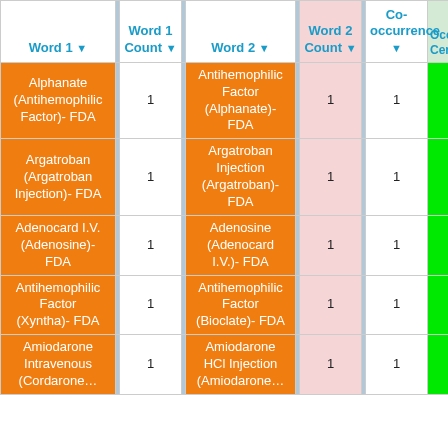| Word 1 | Word 1 Count | Word 2 | Word 2 Count | Co-occurrence | Occu… Cent… |
| --- | --- | --- | --- | --- | --- |
| Alphanate (Antihemophilic Factor)- FDA | 1 | Antihemophilic Factor (Alphanate)- FDA | 1 | 1 |  |
| Argatroban (Argatroban Injection)- FDA | 1 | Argatroban Injection (Argatroban)- FDA | 1 | 1 |  |
| Adenocard I.V. (Adenosine)- FDA | 1 | Adenosine (Adenocard I.V.)- FDA | 1 | 1 |  |
| Antihemophilic Factor (Xyntha)- FDA | 1 | Antihemophilic Factor (Bioclate)- FDA | 1 | 1 |  |
| Amiodarone Intravenous (Cordarone… | 1 | Amiodarone HCl Injection (Amiodarone… | 1 | 1 |  |